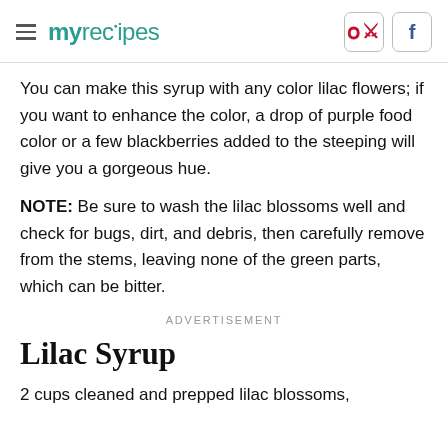myrecipes [hamburger menu, Pinterest icon, Facebook icon]
You can make this syrup with any color lilac flowers; if you want to enhance the color, a drop of purple food color or a few blackberries added to the steeping will give you a gorgeous hue.
NOTE: Be sure to wash the lilac blossoms well and check for bugs, dirt, and debris, then carefully remove from the stems, leaving none of the green parts, which can be bitter.
ADVERTISEMENT
Lilac Syrup
2 cups cleaned and prepped lilac blossoms,